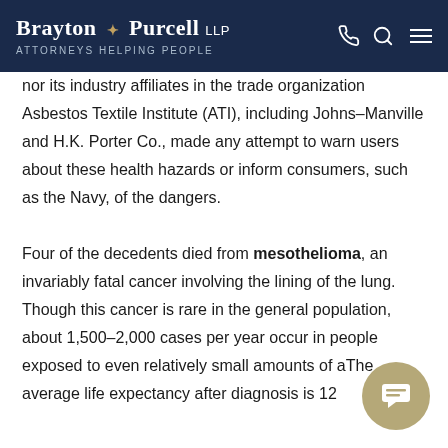Brayton Purcell LLP Attorneys Helping People
nor its industry affiliates in the trade organization Asbestos Textile Institute (ATI), including Johns-Manville and H.K. Porter Co., made any attempt to warn users about these health hazards or inform consumers, such as the Navy, of the dangers.

Four of the decedents died from mesothelioma, an invariably fatal cancer involving the lining of the lung. Though this cancer is rare in the general population, about 1,500–2,000 cases per year occur in people exposed to even relatively small amounts of a[sbestos]. The average life expectancy after diagnosis is 12[...]